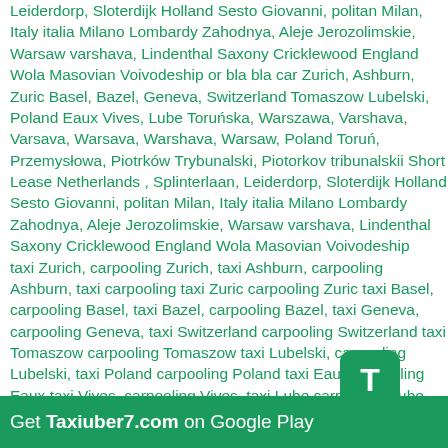Leiderdorp, Sloterdijk Holland Sesto Giovanni, politan Milan, Italy italia Milano Lombardy Zahodnya, Aleje Jerozolimskie, Warsaw varshava, Lindenthal Saxony Cricklewood England Wola Masovian Voivodeship or bla bla car Zurich, Ashburn, Zuric Basel, Bazel, Geneva, Switzerland Tomaszow Lubelski, Poland Eaux Vives, Lube Toruńska, Warszawa, Varshava, Varsava, Warsava, Warshava, Warsaw, Poland Toruń, Przemysłowa, Piotrków Trybunalski, Piotorkov tribunalskii Short Lease Netherlands , Splinterlaan, Leiderdorp, Sloterdijk Holland Sesto Giovanni, politan Milan, Italy italia Milano Lombardy Zahodnya, Aleje Jerozolimskie, Warsaw varshava, Lindenthal Saxony Cricklewood England Wola Masovian Voivodeship taxi Zurich, carpooling Zurich, taxi Ashburn, carpooling Ashburn, taxi carpooling taxi Zuric carpooling Zuric taxi Basel, carpooling Basel, taxi Bazel, carpooling Bazel, taxi Geneva, carpooling Geneva, taxi Switzerland carpooling Switzerland taxi Tomaszow carpooling Tomaszow taxi Lubelski, carpooling Lubelski, taxi Poland carpooling Poland taxi Eaux carpooling Eaux taxi Vives, carpooling Vives, taxi Lube carpooling Lube taxi Toruńska, carpooling Toruńska, taxi Warszawa, carpooling Warszawa, taxi Varshava, carpooling Varshava, taxi Varsava, carpooling Varsava, taxi Warsava, carpooling Warsava, taxi Warshava, carpooling Warshava, taxi Warsaw, carpooling Warsaw, taxi Poland carpooling Przemysłowa, carpooling Przemysłowa, taxi Piotrkow carpooling Piotrków taxi Trybunalski
[Figure (logo): Green rounded square icon with white letter T]
Get Taxiuber7.com on Google Play